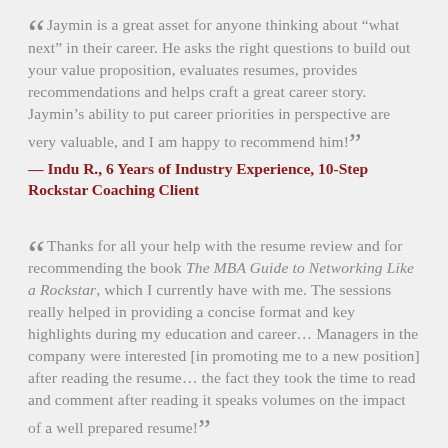“Jaymin is a great asset for anyone thinking about “what next” in their career. He asks the right questions to build out your value proposition, evaluates resumes, provides recommendations and helps craft a great career story. Jaymin’s ability to put career priorities in perspective are very valuable, and I am happy to recommend him!”
— Indu R., 6 Years of Industry Experience, 10-Step Rockstar Coaching Client
“Thanks for all your help with the resume review and for recommending the book The MBA Guide to Networking Like a Rockstar, which I currently have with me. The sessions really helped in providing a concise format and key highlights during my education and career… Managers in the company were interested [in promoting me to a new position] after reading the resume… the fact they took the time to read and comment after reading it speaks volumes on the impact of a well prepared resume!”